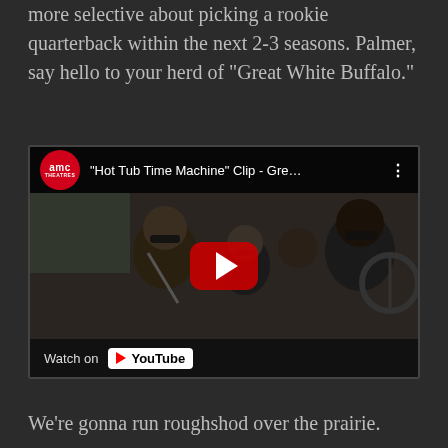more selective about picking a rookie quarterback within the next 2-3 seasons. Palmer, say hello to your herd of “Great White Buffalo.”
[Figure (screenshot): YouTube video embed showing AMC Theatres video titled '"Hot Tub Time Machine" Clip - Gre...' with a scene of people in a car. A red YouTube play button is displayed in the center. Bottom bar shows 'Watch on YouTube'.]
We’re gonna run roughshod over the prairie.